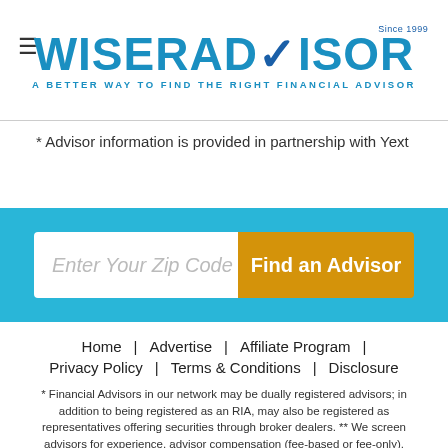[Figure (logo): WiserAdvisor logo with checkmark and tagline 'A BETTER WAY TO FIND THE RIGHT FINANCIAL ADVISOR']
* Advisor information is provided in partnership with Yext
[Figure (other): Search bar with 'Enter Your Zip Code' input and 'Find an Advisor' orange button on cyan background]
Home | Advertise | Affiliate Program | Privacy Policy | Terms & Conditions | Disclosure
* Financial Advisors in our network may be dually registered advisors; in addition to being registered as an RIA, may also be registered as representatives offering securities through broker dealers. ** We screen advisors for experience, advisor compensation (fee-based or fee-only), licensing and disclosures with SEC/FINRA. By using this site you agree to our terms of service.